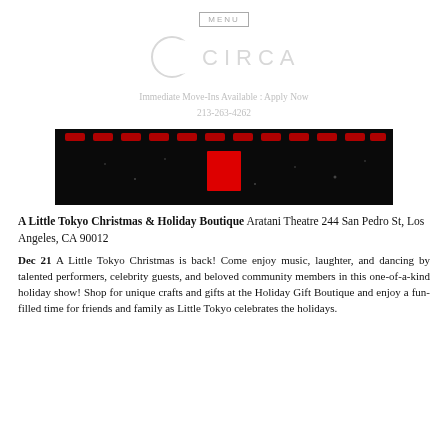MENU
[Figure (logo): CIRCA logo with crescent moon graphic and spaced letter text]
Immediate Move-Ins Available : Apply Now
213-263-4262
[Figure (photo): Dark/black background with red illuminated text and a red rectangular lit sign element — nighttime event image]
A Little Tokyo Christmas & Holiday Boutique Aratani Theatre 244 San Pedro St, Los Angeles, CA 90012
Dec 21 A Little Tokyo Christmas is back! Come enjoy music, laughter, and dancing by talented performers, celebrity guests, and beloved community members in this one-of-a-kind holiday show! Shop for unique crafts and gifts at the Holiday Gift Boutique and enjoy a fun-filled time for friends and family as Little Tokyo celebrates the holidays.